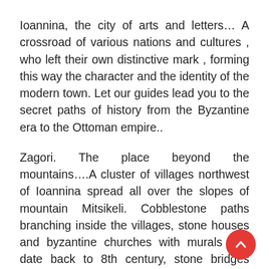Ioannina, the city of arts and letters… A crossroad of various nations and cultures , who left their own distinctive mark , forming this way the character and the identity of the modern town. Let our guides lead you to the secret paths of history from the Byzantine era to the Ottoman empire..
Zagori. The place beyond the mountains….A cluster of villages northwest of Ioannina spread all over the slopes of mountain Mitsikeli. Cobblestone paths branching inside the villages, stone houses and byzantine churches with murals that date back to 8th century, stone bridges which lie there for centuries and above all, the unique gastronomy.
The oracle of the Dead